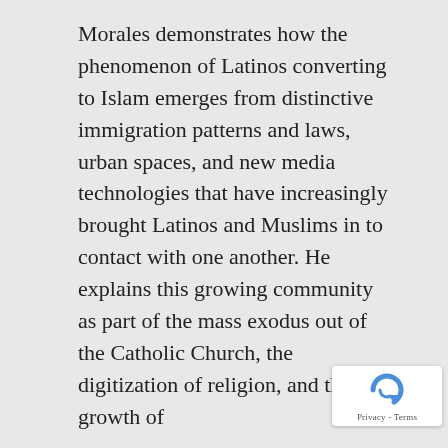Morales demonstrates how the phenomenon of Latinos converting to Islam emerges from distinctive immigration patterns and laws, urban spaces, and new media technologies that have increasingly brought Latinos and Muslims in to contact with one another. He explains this growing community as part of the mass exodus out of the Catholic Church, the digitization of religion, and the growth of
[Figure (logo): reCAPTCHA badge with blue circular arrow icon and 'Privacy - Terms' text]